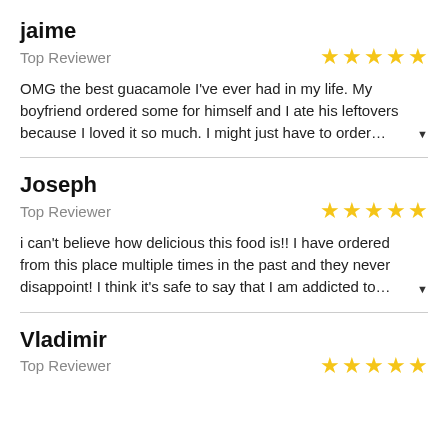jaime
Top Reviewer  ★★★★★
OMG the best guacamole I've ever had in my life. My boyfriend ordered some for himself and I ate his leftovers because I loved it so much. I might just have to order…
Joseph
Top Reviewer  ★★★★★
i can't believe how delicious this food is!! I have ordered from this place multiple times in the past and they never disappoint! I think it's safe to say that I am addicted to…
Vladimir
Top Reviewer  ★★★★★